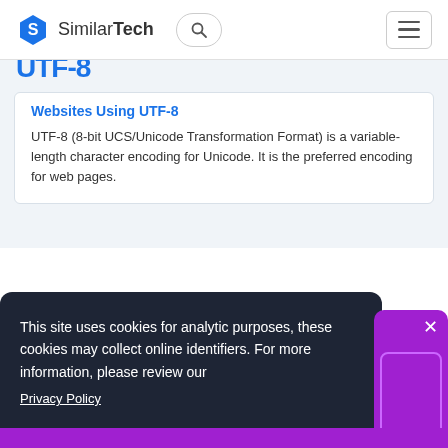SimilarTech
Websites Using UTF-8
UTF-8 (8-bit UCS/Unicode Transformation Format) is a variable-length character encoding for Unicode. It is the preferred encoding for web pages.
This site uses cookies for analytic purposes, these cookies may collect online identifiers. For more information, please review our Privacy Policy
Got it